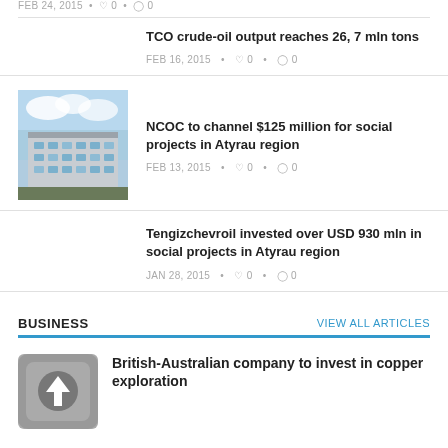FEB 24, 2015 • ♡ 0 • ◯ 0
TCO crude-oil output reaches 26, 7 mln tons
FEB 16, 2015 • ♡ 0 • ◯ 0
[Figure (photo): Apartment building photo for NCOC article]
NCOC to channel $125 million for social projects in Atyrau region
FEB 13, 2015 • ♡ 0 • ◯ 0
Tengizchevroil invested over USD 930 mln in social projects in Atyrau region
JAN 28, 2015 • ♡ 0 • ◯ 0
BUSINESS
VIEW ALL ARTICLES
[Figure (illustration): Upload/share icon button in gray rounded square]
British-Australian company to invest in copper exploration